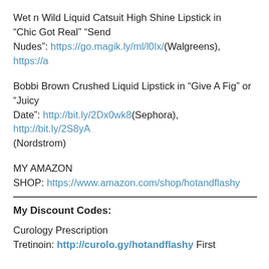Wet n Wild Liquid Catsuit High Shine Lipstick in “Chic Got Real” “Send Nudes”: https://go.magik.ly/ml/l0lx/(Walgreens), https://a
Bobbi Brown Crushed Liquid Lipstick in “Give A Fig” or “Juicy Date”: http://bit.ly/2Dx0wk8(Sephora), http://bit.ly/2S8yA (Nordstrom)
MY AMAZON SHOP: https://www.amazon.com/shop/hotandflashy
My Discount Codes:
Curology Prescription Tretinoin: http://curolo.gy/hotandflashy First